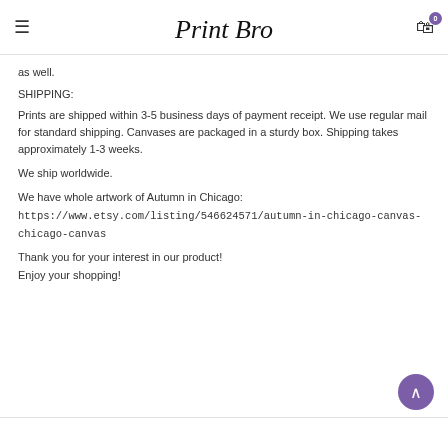Print Bro [logo] | cart 0
as well.
SHIPPING:
Prints are shipped within 3-5 business days of payment receipt. We use regular mail for standard shipping. Canvases are packaged in a sturdy box. Shipping takes approximately 1-3 weeks.
We ship worldwide.
We have whole artwork of Autumn in Chicago:
https://www.etsy.com/listing/546624571/autumn-in-chicago-canvas-chicago-canvas
Thank you for your interest in our product!
Enjoy your shopping!